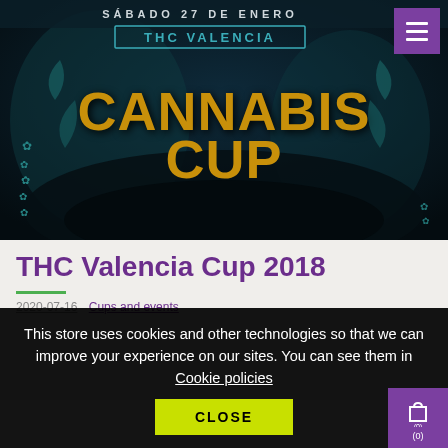[Figure (photo): Event poster for THC Valencia Cannabis Cup 2018 on Saturday January 27. Dark blue/teal background with ornate Art Nouveau style decorations, cannabis leaf motifs on left side, and large gold/yellow text reading CANNABIS CUP. Top shows SÁBADO 27 DE ENERO and THC VALENCIA in teal banner. Hamburger menu icon in purple top right.]
THC Valencia Cup 2018
2020-07-16    Cups and events
This store uses cookies and other technologies so that we can improve your experience on our sites. You can see them in Cookie policies
CLOSE